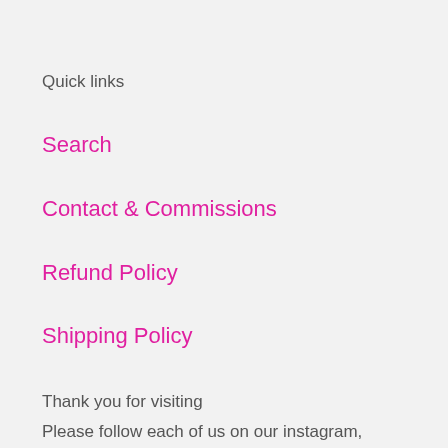Quick links
Search
Contact & Commissions
Refund Policy
Shipping Policy
Thank you for visiting
Please follow each of us on our instagram,